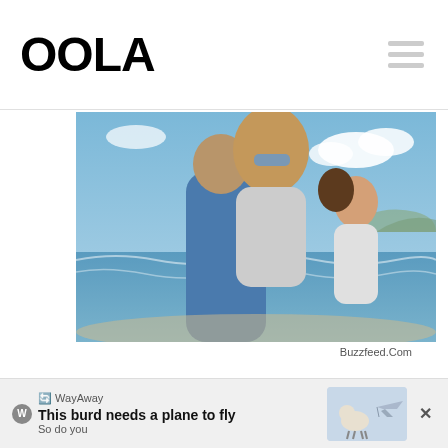OOLA
[Figure (photo): Two couples on a beach, one woman with curly hair and sunglasses riding piggyback on a man, another couple in the background, all laughing and having fun]
Buzzfeed.Com
If you love s'mores as much as the
[Figure (infographic): WayAway advertisement banner: 'This burd needs a plane to fly / So do you' with goat illustration and plane]